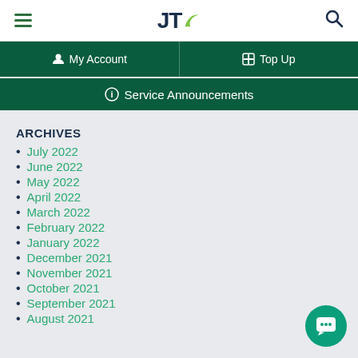JT — My Account | Top Up | Service Announcements
ARCHIVES
July 2022
June 2022
May 2022
April 2022
March 2022
February 2022
January 2022
December 2021
November 2021
October 2021
September 2021
August 2021